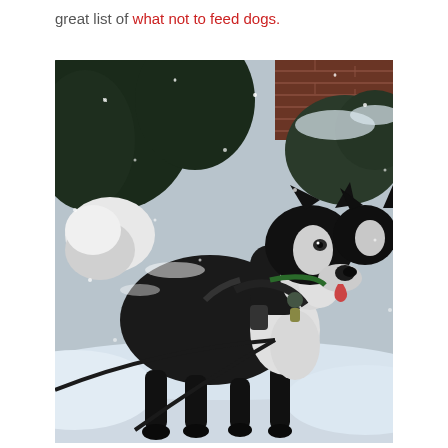great list of what not to feed dogs.
[Figure (photo): Two Alaskan Malamute or Husky dogs standing in snow during a snowstorm. The dogs are black and white, one wearing a harness and leash. Background shows snow-covered bushes and a brick wall.]